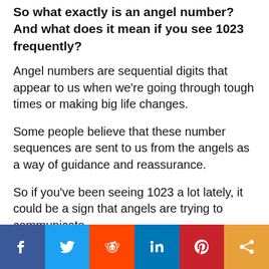So what exactly is an angel number? And what does it mean if you see 1023 frequently?
Angel numbers are sequential digits that appear to us when we're going through tough times or making big life changes.
Some people believe that these number sequences are sent to us from the angels as a way of guidance and reassurance.
So if you've been seeing 1023 a lot lately, it could be a sign that angels are trying to communicate
[Figure (infographic): Social media share bar with six buttons: Facebook (dark blue), Twitter (light blue), Reddit (orange), LinkedIn (blue), Pinterest (red), Share (amber/orange)]